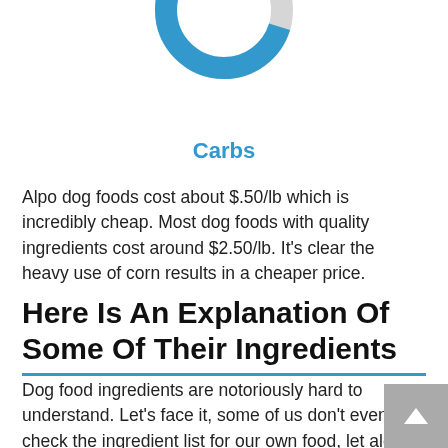[Figure (donut-chart): Partial donut chart showing Carbs category, mostly blue with a small grey segment, partially cropped at top]
Carbs
Alpo dog foods cost about $.50/lb which is incredibly cheap. Most dog foods with quality ingredients cost around $2.50/lb. It's clear the heavy use of corn results in a cheaper price.
Here Is An Explanation Of Some Of Their Ingredients
Dog food ingredients are notoriously hard to understand. Let's face it, some of us don't even check the ingredient list for our own food, let alone for our pups.